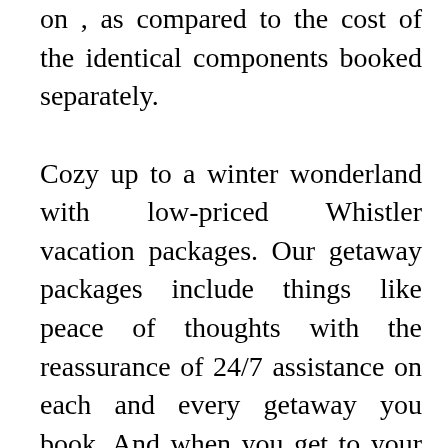on , as compared to the cost of the identical components booked separately.

Cozy up to a winter wonderland with low-priced Whistler vacation packages. Our getaway packages include things like peace of thoughts with the reassurance of 24/7 assistance on each and every getaway you book. And when you get to your destination, we know that in some cases